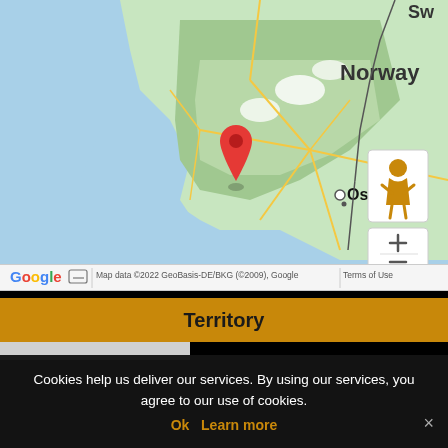[Figure (map): Google Maps screenshot showing Norway with a red location pin marker placed in the mountainous region northwest of Oslo. The map shows Norway's terrain including fjords, Oslo city label, and partial text 'Sw' (Sweden) in the top right corner. Map controls including a pegman (orange figure), zoom in (+) and zoom out (-) buttons are visible on the right side.]
Map data ©2022 GeoBasis-DE/BKG (©2009), Google   Terms of Use
Territory
Cookies help us deliver our services. By using our services, you agree to our use of cookies.
Ok   Learn more